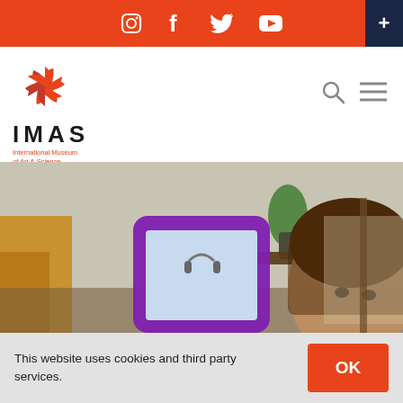IMAS website header with social media icons: Instagram, Facebook, Twitter, YouTube and a + button
[Figure (logo): IMAS - International Museum of Art & Science logo with orange/red pinwheel icon above the text]
[Figure (photo): Child holding a purple tablet/iPad in a home setting with a guitar, plant, and wooden furniture visible]
This website uses cookies and third party services.